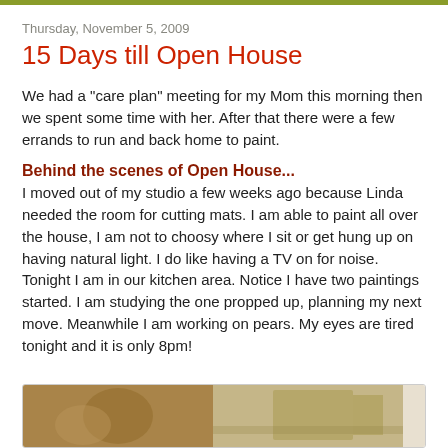Thursday, November 5, 2009
15 Days till Open House
We had a "care plan" meeting for my Mom this morning then we spent some time with her. After that there were a few errands to run and back home to paint.
Behind the scenes of Open House...
I moved out of my studio a few weeks ago because Linda needed the room for cutting mats. I am able to paint all over the house, I am not to choosy where I sit or get hung up on having natural light. I do like having a TV on for noise. Tonight I am in our kitchen area. Notice I have two paintings started. I am studying the one propped up, planning my next move. Meanwhile I am working on pears. My eyes are tired tonight and it is only 8pm!
[Figure (photo): Two side-by-side photos at the bottom of the page showing the artist's kitchen painting setup]